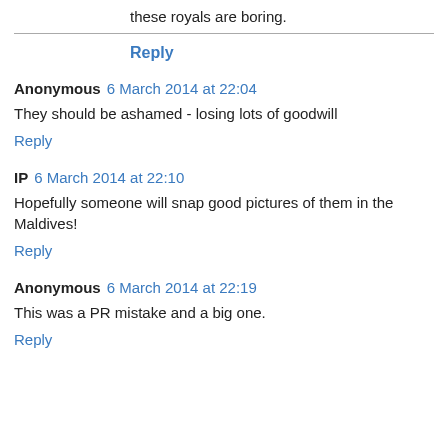these royals are boring.
Reply
Anonymous 6 March 2014 at 22:04
They should be ashamed - losing lots of goodwill
Reply
IP 6 March 2014 at 22:10
Hopefully someone will snap good pictures of them in the Maldives!
Reply
Anonymous 6 March 2014 at 22:19
This was a PR mistake and a big one.
Reply